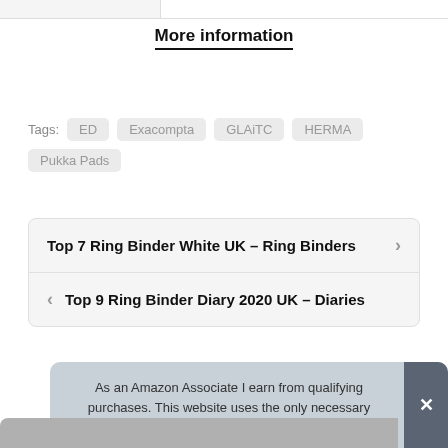More information
Tags:  ED  Exacompta  GLAITC  HERMA  Pukka Pads
Top 7 Ring Binder White UK – Ring Binders
Top 9 Ring Binder Diary 2020 UK – Diaries
As an Amazon Associate I earn from qualifying purchases. This website uses the only necessary cookies to ensure you get the best experience on our website. More information